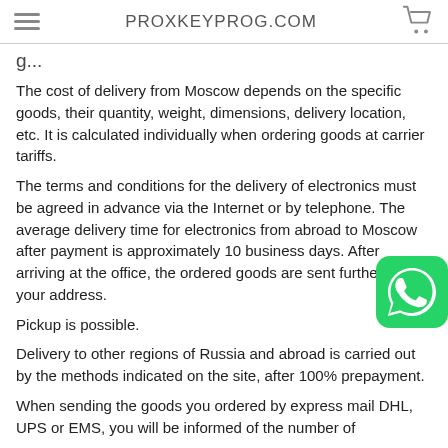PROXKEYPROG.COM
The cost of delivery from Moscow depends on the specific goods, their quantity, weight, dimensions, delivery location, etc. It is calculated individually when ordering goods at carrier tariffs.
The terms and conditions for the delivery of electronics must be agreed in advance via the Internet or by telephone. The average delivery time for electronics from abroad to Moscow after payment is approximately 10 business days. After arriving at the office, the ordered goods are sent further to your address.
Pickup is possible.
Delivery to other regions of Russia and abroad is carried out by the methods indicated on the site, after 100% prepayment.
When sending the goods you ordered by express mail DHL, UPS or EMS, you will be informed of the number of